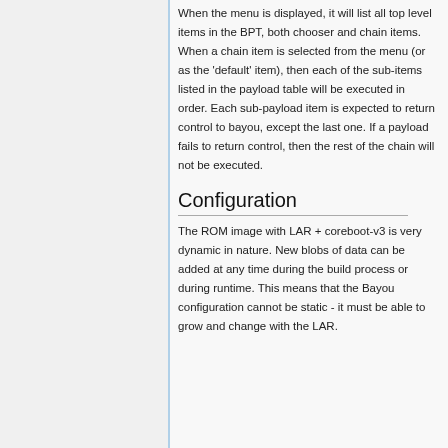When the menu is displayed, it will list all top level items in the BPT, both chooser and chain items. When a chain item is selected from the menu (or as the 'default' item), then each of the sub-items listed in the payload table will be executed in order. Each sub-payload item is expected to return control to bayou, except the last one. If a payload fails to return control, then the rest of the chain will not be executed.
Configuration
The ROM image with LAR + coreboot-v3 is very dynamic in nature. New blobs of data can be added at any time during the build process or during runtime. This means that the Bayou configuration cannot be static - it must be able to grow and change with the LAR.